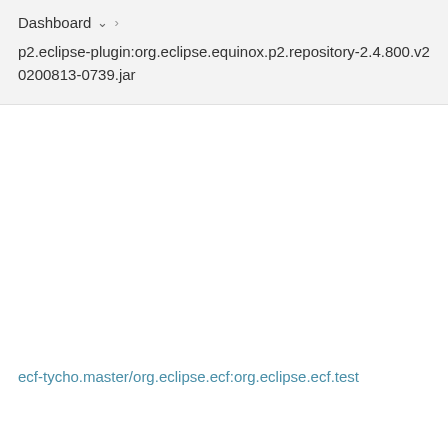Dashboard
p2.eclipse-plugin:org.eclipse.equinox.p2.repository-2.4.800.v20200813-0739.jar
ecf-tycho.master/org.eclipse.ecf:org.eclipse.ecf.test